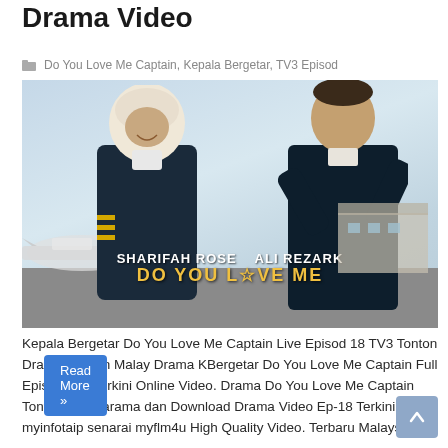Drama Video
Do You Love Me Captain, Kepala Bergetar, TV3 Episod
[Figure (photo): Promotional poster for 'Do You Love Me Captain' (Kepala Bergetar TV3 drama) showing two leads in airline uniforms — a woman in hijab and a man — standing on an airport tarmac with a plane in the background. Text overlay reads: SHARIFAH ROSE  ALI REZARK, DO YOU L☆VE ME]
Kepala Bergetar Do You Love Me Captain Live Episod 18 TV3 Tonton Drama. Tonton Malay Drama KBergetar Do You Love Me Captain Full Episode 18 Terkini Online Video. Drama Do You Love Me Captain Tonton Cerekarama dan Download Drama Video Ep-18 Terkini myinfotaip senarai myflm4u High Quality Video. Terbaru Malaysia …
Read More »